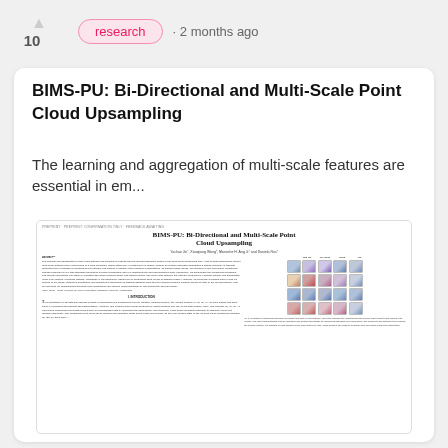10 · research · 2 months ago
BIMS-PU: Bi-Directional and Multi-Scale Point Cloud Upsampling
The learning and aggregation of multi-scale features are essential in em...
[Figure (screenshot): Thumbnail of the BIMS-PU research paper showing title, authors, abstract, introduction text, and qualitative comparison figures of point cloud upsampling results.]